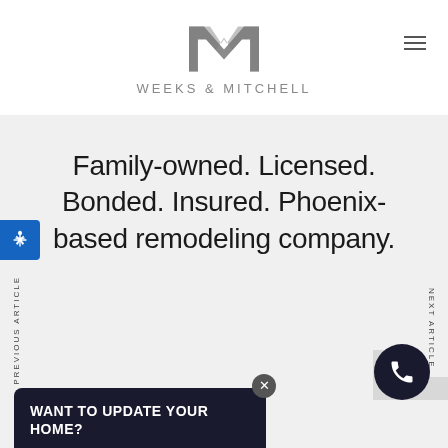[Figure (logo): Weeks & Mitchell company logo with stylized M lettermark in gray and company name below]
Family-owned. Licensed. Bonded. Insured. Phoenix-based remodeling company.
PREVIOUS ARTICLE
NEXT ARTICLE
WANT TO UPDATE YOUR HOME?